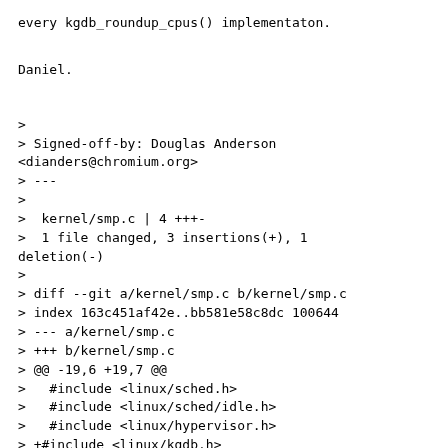every kgdb_roundup_cpus() implementaton.
Daniel.
>
> Signed-off-by: Douglas Anderson
<dianders@chromium.org>
> ---
>
>  kernel/smp.c | 4 +++-
>  1 file changed, 3 insertions(+), 1
deletion(-)
>
> diff --git a/kernel/smp.c b/kernel/smp.c
> index 163c451af42e..bb581e58c8dc 100644
> --- a/kernel/smp.c
> +++ b/kernel/smp.c
> @@ -19,6 +19,7 @@
>   #include <linux/sched.h>
>   #include <linux/sched/idle.h>
>   #include <linux/hypervisor.h>
> +#include <linux/kgdb.h>
>
>   #include "smpboot.h"
>
> @@ -413,7 +414,8 @@ void
smp_call_function_many(const struct cpumask